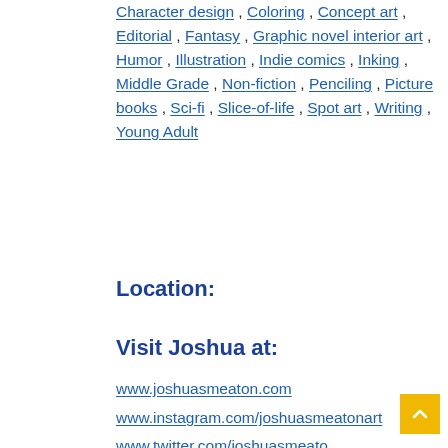Character design , Coloring , Concept art , Editorial , Fantasy , Graphic novel interior art , Humor , Illustration , Indie comics , Inking , Middle Grade , Non-fiction , Penciling , Picture books , Sci-fi , Slice-of-life , Spot art , Writing , Young Adult
Location:
Visit Joshua at:
www.joshuasmeaton.com
www.instagram.com/joshuasmeatonart
www.twitter.com/joshuasmeato